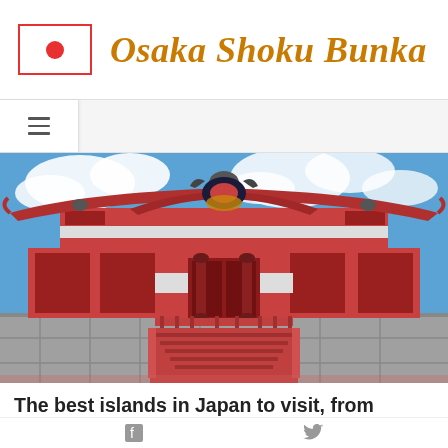Osaka Shoku Bunka
[Figure (photo): Shuri Castle in Okinawa, Japan — a large traditional Ryukyuan castle with vivid red architecture, ornate decorations, stone steps leading to the main gate, and a blue sky with clouds in the background.]
The best islands in Japan to visit, from Okinawa to
Facebook share | Twitter share